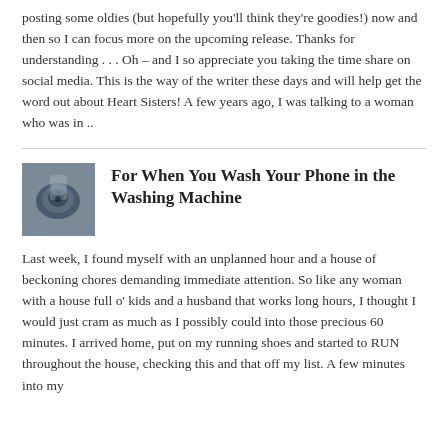posting some oldies (but hopefully you'll think they're goodies!) now and then so I can focus more on the upcoming release. Thanks for understanding . . . Oh – and I so appreciate you taking the time share on social media. This is the way of the writer these days and will help get the word out about Heart Sisters! A few years ago, I was talking to a woman who was in ..
[Figure (photo): Small thumbnail image showing a phone in a washing machine or wet environment, dark blue/grey tones]
For When You Wash Your Phone in the Washing Machine
Last week, I found myself with an unplanned hour and a house of beckoning chores demanding immediate attention. So like any woman with a house full o' kids and a husband that works long hours, I thought I would just cram as much as I possibly could into those precious 60 minutes. I arrived home, put on my running shoes and started to RUN throughout the house, checking this and that off my list. A few minutes into my